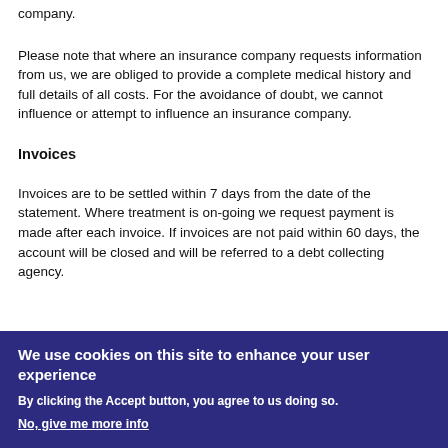company.
Please note that where an insurance company requests information from us, we are obliged to provide a complete medical history and full details of all costs. For the avoidance of doubt, we cannot influence or attempt to influence an insurance company.
Invoices
Invoices are to be settled within 7 days from the date of the statement. Where treatment is on-going we request payment is made after each invoice. If invoices are not paid within 60 days, the account will be closed and will be referred to a debt collecting agency.
We use cookies on this site to enhance your user experience
By clicking the Accept button, you agree to us doing so.
No, give me more info